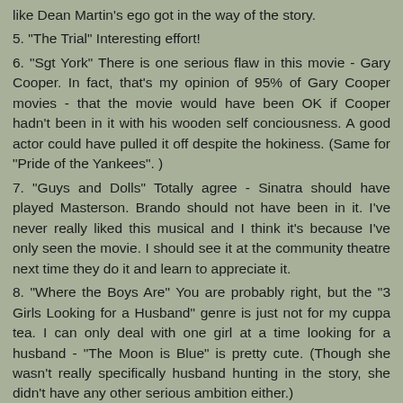like Dean Martin's ego got in the way of the story.
5. "The Trial" Interesting effort!
6. "Sgt York" There is one serious flaw in this movie - Gary Cooper. In fact, that's my opinion of 95% of Gary Cooper movies - that the movie would have been OK if Cooper hadn't been in it with his wooden self conciousness. A good actor could have pulled it off despite the hokiness. (Same for "Pride of the Yankees". )
7. "Guys and Dolls" Totally agree - Sinatra should have played Masterson. Brando should not have been in it. I've never really liked this musical and I think it's because I've only seen the movie. I should see it at the community theatre next time they do it and learn to appreciate it.
8. "Where the Boys Are" You are probably right, but the "3 Girls Looking for a Husband" genre is just not for my cuppa tea. I can only deal with one girl at a time looking for a husband - "The Moon is Blue" is pretty cute. (Though she wasn't really specifically husband hunting in the story, she didn't have any other serious ambition either.)
9. "Pink Panther" The first two panther movies are cute. I just don't see how it turned into such a popular franchise.
10. "Man Who Knew Too Much" I also prefer the first one.